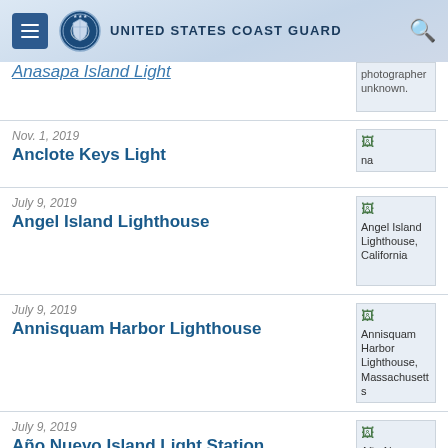United States Coast Guard
Anasapa Island Light
Nov. 1, 2019 — Anclote Keys Light
July 9, 2019 — Angel Island Lighthouse
July 9, 2019 — Annisquam Harbor Lighthouse
July 9, 2019 — Año Nuevo Island Light Station